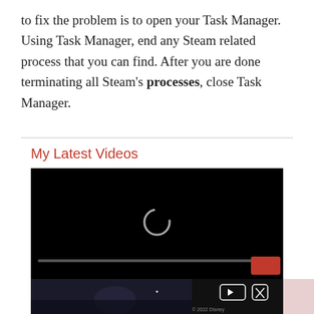to fix the problem is to open your Task Manager. Using Task Manager, end any Steam related process that you can find. After you are done terminating all Steam's processes, close Task Manager.
My Latest Videos
[Figure (screenshot): A black video player showing a loading spinner (circular arc) in the center, a thin progress bar near the bottom, and a red play/control button in the bottom-right corner. Below it is an advertisement bar showing a movie scene with play and close controls.]